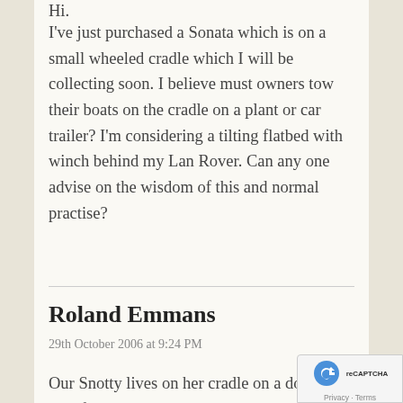I've just purchased a Sonata which is on a small wheeled cradle which I will be collecting soon. I believe must owners tow their boats on the cradle on a plant or car trailer? I'm considering a tilting flatbed with winch behind my Lan Rover. Can any one advise on the wisdom of this and normal practise?
Roland Emmans
29th October 2006 at 9:24 PM
Our Snotty lives on her cradle on a double axle flat bed car trailer. Although we have n… towed her, we understand she towed fine